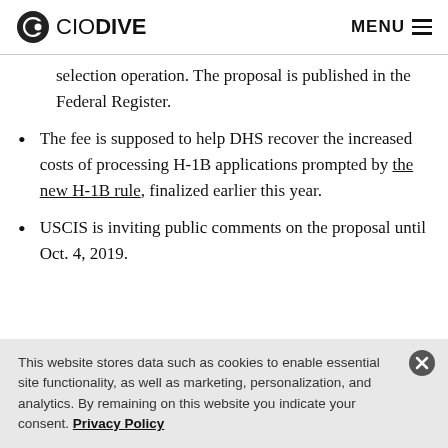CIO DIVE | MENU
selection operation. The proposal is published in the Federal Register.
The fee is supposed to help DHS recover the increased costs of processing H-1B applications prompted by the new H-1B rule, finalized earlier this year.
USCIS is inviting public comments on the proposal until Oct. 4, 2019.
This website stores data such as cookies to enable essential site functionality, as well as marketing, personalization, and analytics. By remaining on this website you indicate your consent. Privacy Policy